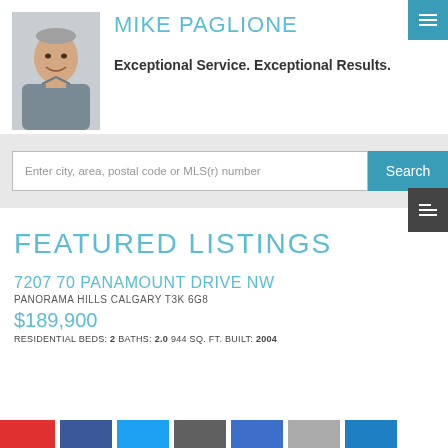[Figure (photo): Headshot photo of Mike Paglione, a middle-aged man with short gray hair, smiling, wearing a gray button-up shirt]
MIKE PAGLIONE
Exceptional Service. Exceptional Results.
Enter city, area, postal code or MLS(r) number
FEATURED LISTINGS
7207 70 PANAMOUNT DRIVE NW
PANORAMA HILLS CALGARY T3K 6G8
$189,900
RESIDENTIAL BEDS: 2 BATHS: 2.0 944 SQ. FT. BUILT: 2004